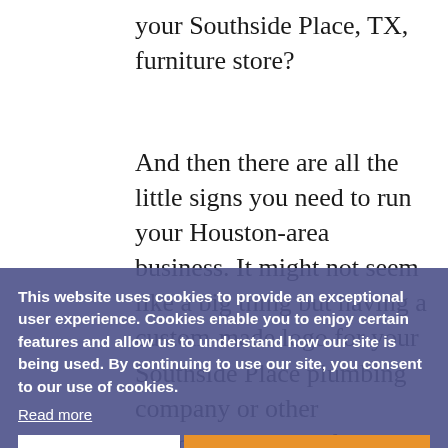your Southside Place, TX, furniture store?
And then there are all the little signs you need to run your Houston-area business. It might not seem like a big thing but having a custom-made logo for your Southside Place plumbing company or other promotional signs for that Southside Place furniture store can really make these businesses memorable and leave good impressions on customers.
This website uses cookies to provide an exceptional user experience. Cookies enable you to enjoy certain features and allow us to understand how our site is being used. By continuing to use our site, you consent to our use of cookies.
Read more
DECLINE
ACCEPT COOKIES
And there are other services that sign shops provide beyond just designing and manufacturing signs. A good sign